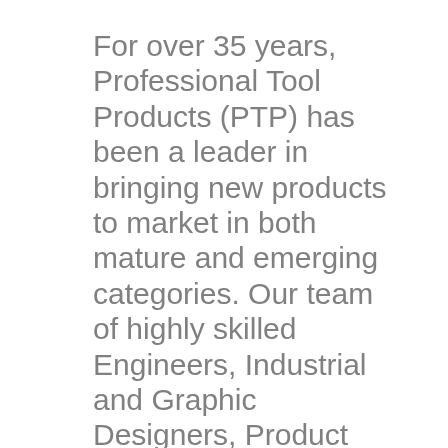For over 35 years, Professional Tool Products (PTP) has been a leader in bringing new products to market in both mature and emerging categories. Our team of highly skilled Engineers, Industrial and Graphic Designers, Product Managers, Photography and Videography Professionals, Warehouse and Logistics Managers, and International Sourcing and Quality Experts work together to bring products from conception to consumption. The results: A comprehensive high quality line of power tools,